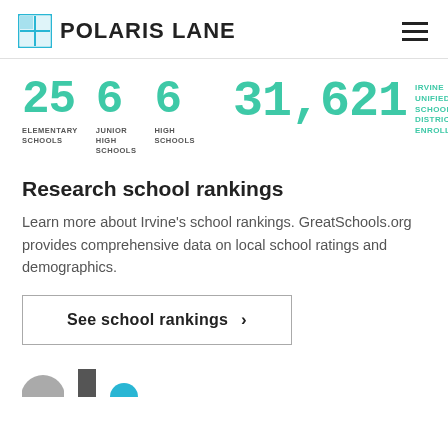POLARIS LANE
[Figure (infographic): School district statistics: 25 Elementary Schools, 6 Junior High Schools, 6 High Schools, 31,621 Irvine Unified School District Enrollment]
Research school rankings
Learn more about Irvine's school rankings. GreatSchools.org provides comprehensive data on local school ratings and demographics.
See school rankings >
[Figure (other): Partial icons at bottom of page]